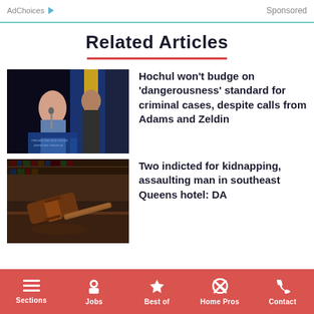AdChoices   Sponsored
Related Articles
[Figure (photo): Photo of Governor Hochul at a podium with a man standing behind her, in front of New York state flags, at a 'Preventing Gun Violence' event.]
Hochul won't budge on 'dangerousness' standard for criminal cases, despite calls from Adams and Zeldin
[Figure (photo): Photo of a wooden judge's gavel resting on a surface with law books blurred in the background.]
Two indicted for kidnapping, assaulting man in southeast Queens hotel: DA
Sections   Jobs   Best of   Home Pros   Contact